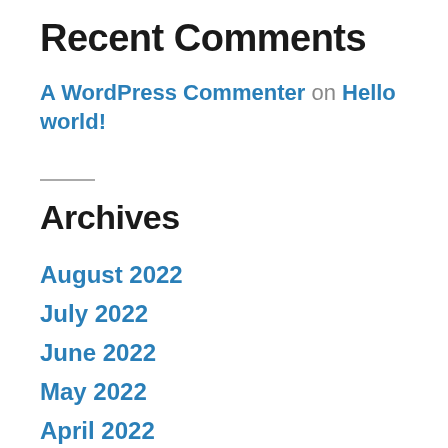Recent Comments
A WordPress Commenter on Hello world!
Archives
August 2022
July 2022
June 2022
May 2022
April 2022